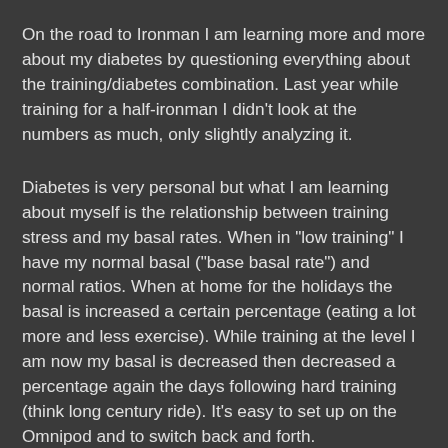On the road to Ironman I am learning more and more about my diabetes by questioning everything about the training/diabetes combination. Last year while training for a half-ironman I didn't look at the numbers as much, only slightly analyzing it.
Diabetes is very personal but what I am learning about myself is the relationship between training stress and my basal rates. When in "low training" I have my normal basal ("base basal rate") and normal ratios. When at home for the holidays the basal is increased a certain percentage (eating a lot more and less exercise). While training at the level I am now my basal is decreased then decreased a percentage again the days following hard training (think long century ride). It's easy to set up on the Omnipod and to switch back and forth.
All of this probably only makes sense to a few people (or maybe even only in my head). The moral of story is I'm